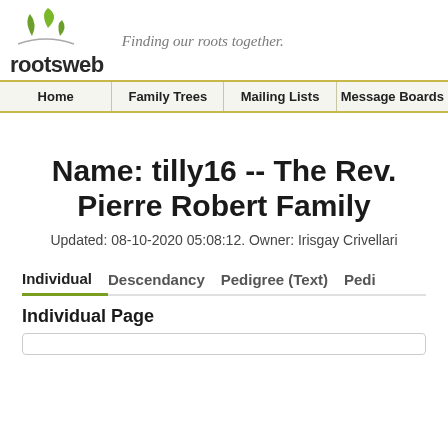[Figure (logo): RootsWeb logo with two green leaves and tagline 'Finding our roots together.']
Home | Family Trees | Mailing Lists | Message Boards
Name: tilly16 -- The Rev. Pierre Robert Family
Updated: 08-10-2020 05:08:12. Owner: Irisgay Crivellari
Individual   Descendancy   Pedigree (Text)   Pedi
Individual Page